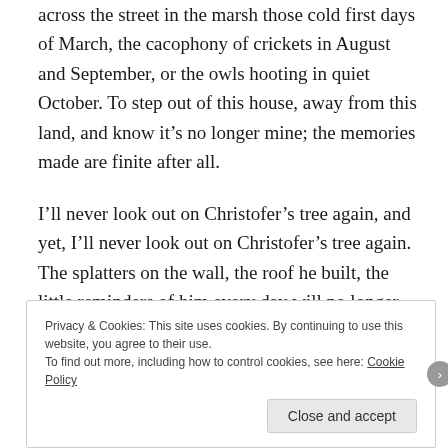across the street in the marsh those cold first days of March, the cacophony of crickets in August and September, or the owls hooting in quiet October. To step out of this house, away from this land, and know it's no longer mine; the memories made are finite after all.

I'll never look out on Christofer's tree again, and yet, I'll never look out on Christofer's tree again. The splatters on the wall, the roof he built, the little reminders of him every day will no longer be right there where I can see them–and yet, they'll no longer be right there where I can see them.
Privacy & Cookies: This site uses cookies. By continuing to use this website, you agree to their use.
To find out more, including how to control cookies, see here: Cookie Policy